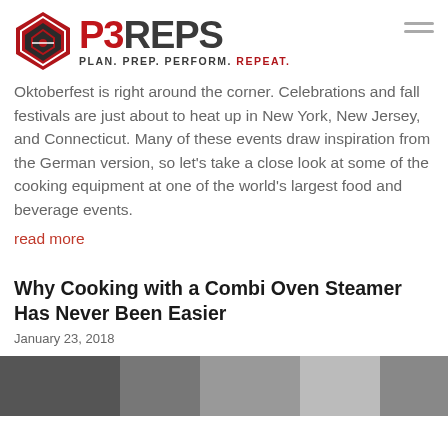[Figure (logo): P3REPS logo with diamond/shield icon and tagline PLAN. PREP. PERFORM. REPEAT.]
Oktoberfest is right around the corner. Celebrations and fall festivals are just about to heat up in New York, New Jersey, and Connecticut. Many of these events draw inspiration from the German version, so let's take a close look at some of the cooking equipment at one of the world's largest food and beverage events.
read more
Why Cooking with a Combi Oven Steamer Has Never Been Easier
January 23, 2018
[Figure (photo): Partial image of cooking equipment or food event photo at bottom of page]